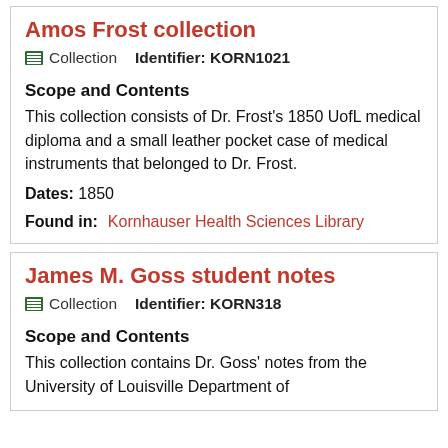Amos Frost collection
Collection    Identifier: KORN1021
Scope and Contents
This collection consists of Dr. Frost's 1850 UofL medical diploma and a small leather pocket case of medical instruments that belonged to Dr. Frost.
Dates: 1850
Found in:    Kornhauser Health Sciences Library
James M. Goss student notes
Collection    Identifier: KORN318
Scope and Contents
This collection contains Dr. Goss' notes from the University of Louisville Department of